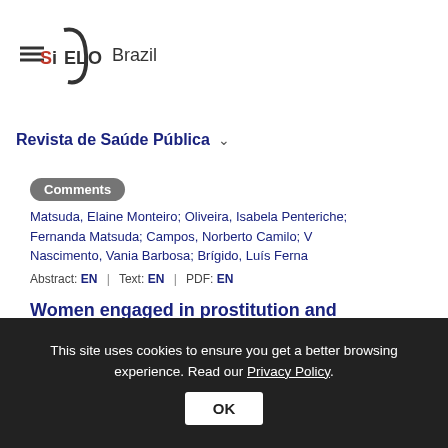[Figure (logo): SciELO Brazil logo with text 'Brazil']
Revista de Saúde Pública
Comments
Matsuda, Elaine Monteiro; Oliveira, Isabela Penteriche; Fernanda Matsuda; Campos, Norberto Camilo; Nascimento, Vania Barbosa; Brígido, Luís Ferna
Abstract: EN | Text: EN | PDF: EN
Women engaged in prostitution and from socially vulnerable groups?
Chieng, Michelle Ishida; Basile, Maitê Leite; Sau...
This site uses cookies to ensure you get a better browsing experience. Read our Privacy Policy.